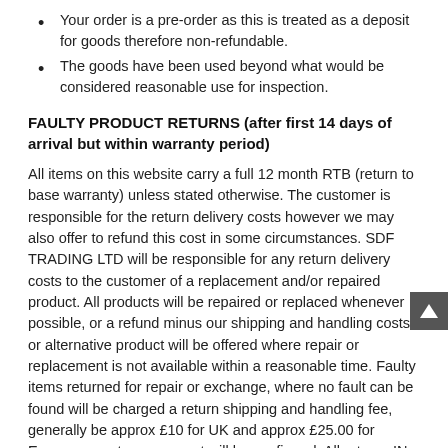Your order is a pre-order as this is treated as a deposit for goods therefore non-refundable.
The goods have been used beyond what would be considered reasonable use for inspection.
FAULTY PRODUCT RETURNS (after first 14 days of arrival but within warranty period)
All items on this website carry a full 12 month RTB (return to base warranty) unless stated otherwise. The customer is responsible for the return delivery costs however we may also offer to refund this cost in some circumstances. SDF TRADING LTD will be responsible for any return delivery costs to the customer of a replacement and/or repaired product. All products will be repaired or replaced whenever possible, or a refund minus our shipping and handling costs or alternative product will be offered where repair or replacement is not available within a reasonable time. Faulty items returned for repair or exchange, where no fault can be found will be charged a return shipping and handling fee, generally be approx £10 for UK and approx £25.00 for European customers, exact will be confirmed. All returns IN ALL CIRCUMSTANCES must be authoris for return by SDF TRADING LTD prior to returning. ANY returns received without first obtaining authorisation may be refused and/or subject to return delivery costs where applicable. In the cases of any items being suspected of having a hardware fault in the first instance the customer